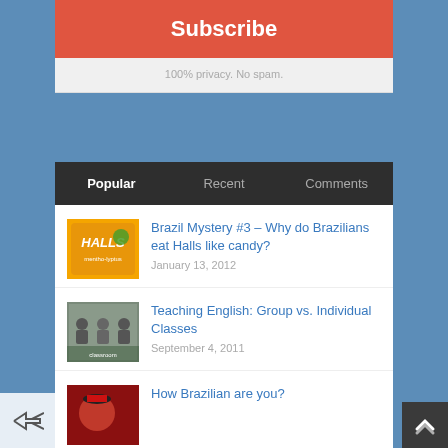Subscribe
100% privacy. No spam.
Popular | Recent | Comments
Brazil Mystery #3 – Why do Brazilians eat Halls like candy?
January 13, 2012
Teaching English: Group vs. Individual Classes
September 4, 2011
How Brazilian are you?